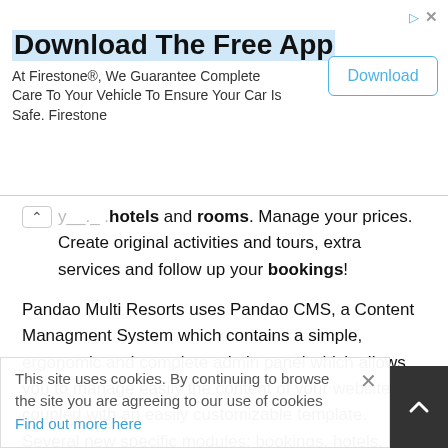[Figure (screenshot): Advertisement banner: 'Download The Free App' — At Firestone®, We Guarantee Complete Care To Your Vehicle To Ensure Your Car Is Safe. Firestone. With a 'Download' button.]
...your hotels and rooms. Manage your prices. Create original activities and tours, extra services and follow up your bookings!
Pandao Multi Resorts uses Pandao CMS, a Content Managment System which contains a simple, ergonomic and complete admin panel which allows you to manage easily the content of your website coupled with an easily customizable template. Several new specific modules: bookings, hotels, rooms, rates, currencies, extra services and facilities.
Ideal for a Web agency wishing to spread web sites quickly and simply for its customers!
This site uses cookies. By continuing to browse the site you are agreeing to our use of cookies Find out more here